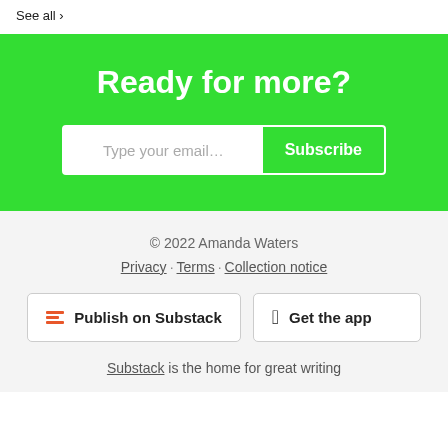See all >
Ready for more?
Type your email… Subscribe
© 2022 Amanda Waters
Privacy · Terms · Collection notice
Publish on Substack
Get the app
Substack is the home for great writing